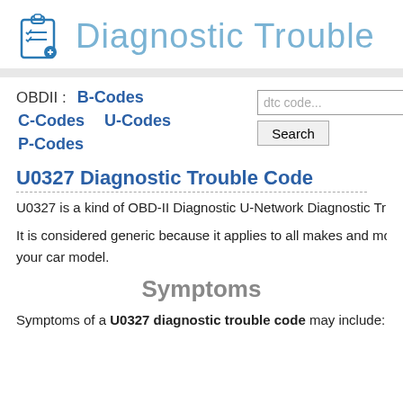[Figure (logo): Clipboard with checklist and medical cross icon in blue]
Diagnostic Trouble
OBDII : B-Codes  C-Codes  U-Codes  P-Codes
U0327 Diagnostic Trouble Code
U0327 is a kind of OBD-II Diagnostic U-Network Diagnostic Tr
It is considered generic because it applies to all makes and models of v your car model.
Symptoms
Symptoms of a U0327 diagnostic trouble code may include: